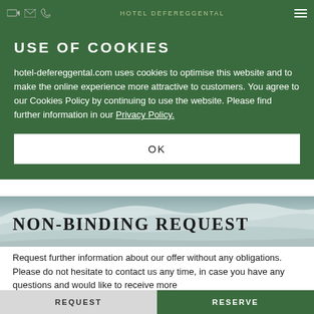HOTEL DEFEREGGENTAL
USE OF COOKIES
hotel-defereggental.com uses cookies to optimise this website and to make the online experience more attractive to customers. You agree to our Cookies Policy by continuing to use the website. Please find further information in our Privacy Policy.
OK
[Figure (photo): Snow-covered mountain landscape]
NON-BINDING REQUEST
Request further information about our offer without any obligations. Please do not hesitate to contact us any time, in case you have any questions and would like to receive more
REQUEST   RESERVE